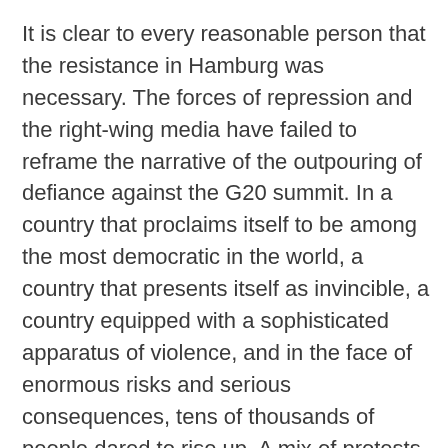It is clear to every reasonable person that the resistance in Hamburg was necessary. The forces of repression and the right-wing media have failed to reframe the narrative of the outpouring of defiance against the G20 summit. In a country that proclaims itself to be among the most democratic in the world, a country that presents itself as invincible, a country equipped with a sophisticated apparatus of violence, and in the face of enormous risks and serious consequences, tens of thousands of people dared to rise up. A mix of protests and offensive actions turned the summit of the ruling class into a disaster. A disaster for the city of Hamburg and a disaster for the powerful 20 leaders themselves, whose most important meeting now faces an uncertain future.